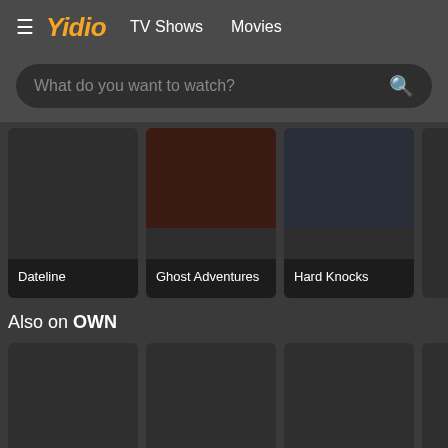Yidio  TV Shows  Movies
What do you want to watch?
[Figure (screenshot): Dateline TV show card with dark background]
[Figure (screenshot): Ghost Adventures TV show card with dark reddish image]
[Figure (screenshot): Hard Knocks TV show card with dark blue-grey image]
Also on OWN
[Figure (screenshot): OWN show card 1 - dark placeholder]
[Figure (screenshot): OWN show card 2 - dark placeholder]
[Figure (screenshot): OWN show card 3 - dark placeholder]